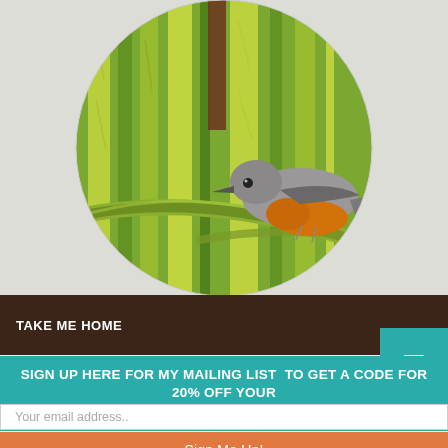[Figure (illustration): Watercolor illustration of a small bird (robin-like, gray body with orange breast) perched on a branch, set within a circular frame with green and yellow foliage background. The circle is placed on a light gray/white paper-textured background.]
TAKE ME HOME
SIGN UP HERE FOR MY MAILING LIST TO GET A CODE FOR 20% OFF YOUR FIRST PRINT ORDER
Your email address..
Sign Me Up!